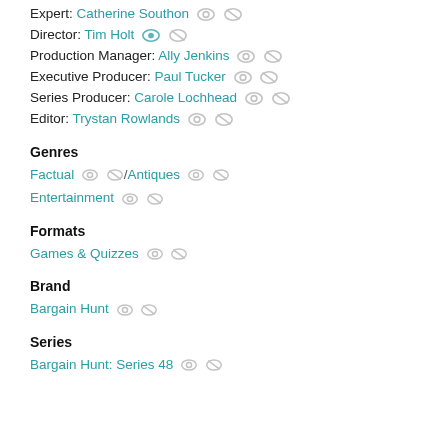Expert: Catherine Southon
Director: Tim Holt
Production Manager: Ally Jenkins
Executive Producer: Paul Tucker
Series Producer: Carole Lochhead
Editor: Trystan Rowlands
Genres
Factual / Antiques Entertainment
Formats
Games & Quizzes
Brand
Bargain Hunt
Series
Bargain Hunt: Series 48